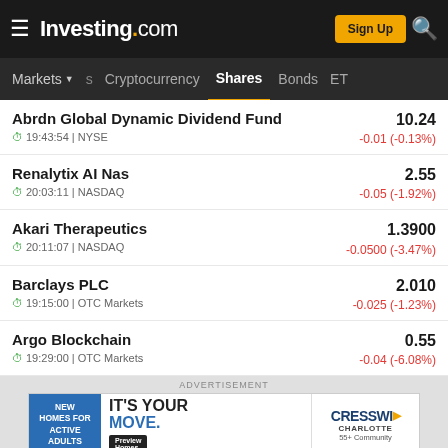Investing.com — Sign Up
Markets | Cryptocurrency | Shares | Bonds | ETF
Abrdn Global Dynamic Dividend Fund | 10.24 | 19:43:54 | NYSE | -0.01 (-0.13%)
Renalytix AI Nas | 2.55 | 20:03:11 | NASDAQ | -0.05 (-1.92%)
Akari Therapeutics | 1.3900 | 20:11:07 | NASDAQ | -0.0500 (-3.47%)
Barclays PLC | 2.010 | 19:15:00 | OTC Markets | -0.025 (-1.23%)
Argo Blockchain | 0.55 | 19:29:00 | OTC Markets | -0.04 (-6.08%)
[Figure (screenshot): Advertisement banner: New Homes for Active Adults — IT'S YOUR MOVE — Preview Homes — CRESSWI CHARLOTTE 55+ Community]